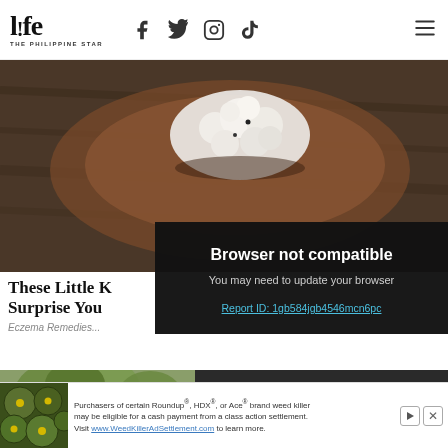life THE PHILIPPINE STAR
[Figure (photo): Food photo showing cauliflower or similar white vegetable on a wooden spoon/board with dark background]
These Little K... Surprise You
Eczema Remedies...
[Figure (screenshot): Browser not compatible overlay with dark background. Title: Browser not compatible. Body: You may need to update your browser. Link: Report ID: 1gb584jgb4546mcn6pc]
[Figure (photo): Two photos side by side: left shows green foliage/trees above a rooftop, right shows a dark building exterior]
[Figure (infographic): Advertisement banner: Purchasers of certain Roundup®, HDX®, or Ace® brand weed killer may be eligible for a cash payment from a class action settlement. Visit www.WeedKillerAdSettlement.com to learn more.]